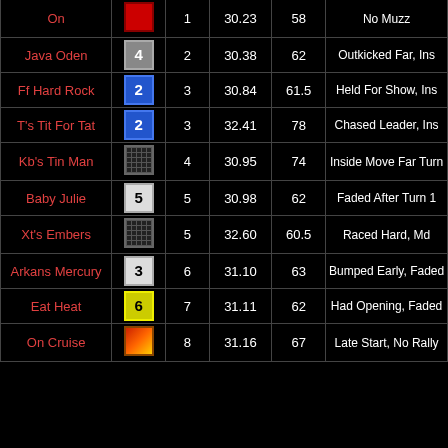| Dog Name | PP | Fin | Time | Wt | Comment |
| --- | --- | --- | --- | --- | --- |
| On | [icon:red-flag 1] | 1 | 30.23 | 58 | No Muzz |
| Java Oden | [icon:gray 4] | 2 | 30.38 | 62 | Outkicked Far, Ins |
| Ff Hard Rock | [icon:blue 2] | 3 | 30.84 | 61.5 | Held For Show, Ins |
| T's Tit For Tat | [icon:blue 2] | 3 | 32.41 | 78 | Chased Leader, Ins |
| Kb's Tin Man | [icon:grid] | 4 | 30.95 | 74 | Inside Move Far Turn |
| Baby Julie | [icon:white 5] | 5 | 30.98 | 62 | Faded After Turn 1 |
| Xt's Embers | [icon:grid] | 5 | 32.60 | 60.5 | Raced Hard, Md |
| Arkans Mercury | [icon:white 3] | 6 | 31.10 | 63 | Bumped Early, Faded |
| Eat Heat | [icon:yellow 6] | 7 | 31.11 | 62 | Had Opening, Faded |
| On Cruise | [icon:flame] | 8 | 31.16 | 67 | Late Start, No Rally |